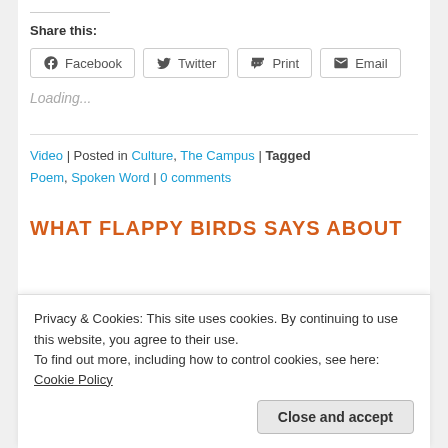Share this:
Facebook | Twitter | Print | Email
Loading...
Video | Posted in Culture, The Campus | Tagged Poem, Spoken Word | 0 comments
WHAT FLAPPY BIRDS SAYS ABOUT
Privacy & Cookies: This site uses cookies. By continuing to use this website, you agree to their use. To find out more, including how to control cookies, see here: Cookie Policy
Close and accept